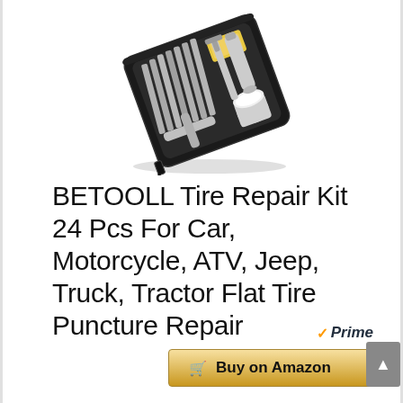[Figure (photo): BETOOLL tire repair kit showing an open black zippered case containing silver metal tools including plugs, insertion tools, a reamer, and a cylindrical container, arranged diagonally]
BETOOLL Tire Repair Kit 24 Pcs For Car, Motorcycle, ATV, Jeep, Truck, Tractor Flat Tire Puncture Repair